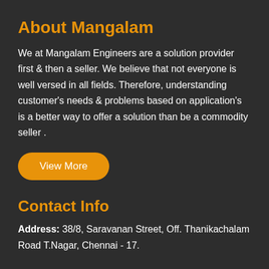About Mangalam
We at Mangalam Engineers are a solution provider first & then a seller. We believe that not everyone is well versed in all fields. Therefore, understanding customer's needs & problems based on application's is a better way to offer a solution than be a commodity seller .
View More
Contact Info
Address: 38/8, Saravanan Street, Off. Thanikachalam Road T.Nagar, Chennai - 17.